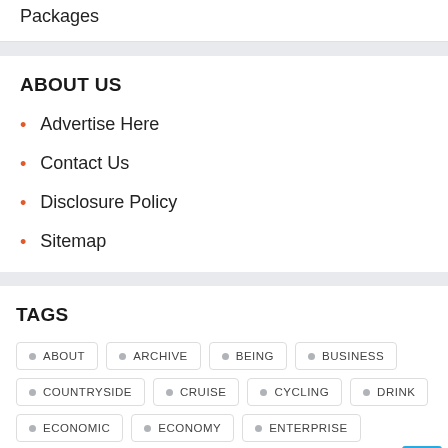Packages
ABOUT US
Advertise Here
Contact Us
Disclosure Policy
Sitemap
TAGS
ABOUT
ARCHIVE
BEING
BUSINESS
COUNTRYSIDE
CRUISE
CYCLING
DRINK
ECONOMIC
ECONOMY
ENTERPRISE
FAMILY
FASHION
FITNESS
GAMES